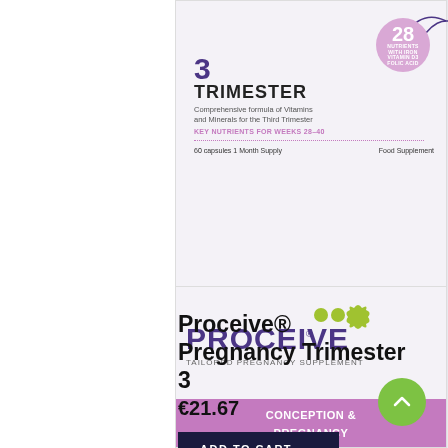[Figure (photo): Product box for Proceive Pregnancy Trimester 3 supplement. Shows '3 TRIMESTER' heading in purple/dark, 28 nutrients badge in pink circle, text reading 'Comprehensive formula of Vitamins and Minerals for the Third Trimester', 'KEY NUTRIENTS FOR WEEKS 28-40', '60 capsules 1 Month Supply', 'Food Supplement'. Decorative swirl in top area.]
Proceive® Pregnancy Trimester 3
€21.67
ADD TO CART →
[Figure (photo): Product box for Proceive Tailored Pregnancy Supplement - Conception & Pregnancy variant. Shows PROCEIVE logo with green dots, 'TAILORED PREGNANCY SUPPLEMENT' subtitle, and pink 'CONCEPTION & PREGNANCY' banner.]